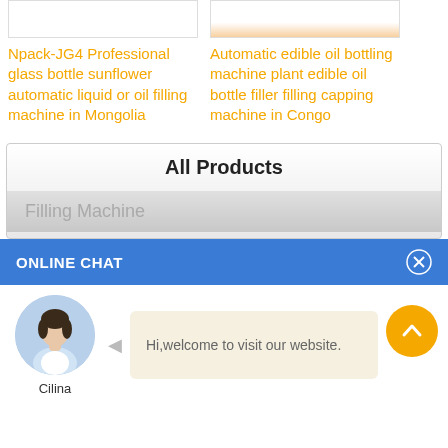[Figure (photo): Product image box for glass bottle filling machine - top portion only visible]
Npack-JG4 Professional glass bottle sunflower automatic liquid or oil filling machine in Mongolia
[Figure (photo): Product image showing red/orange bottles - top portion only visible]
Automatic edible oil bottling machine plant edible oil bottle filler filling capping machine in Congo
All Products
Filling Machine
ONLINE CHAT
[Figure (photo): Avatar photo of a woman named Cilina in white shirt]
Cilina
Hi,welcome to visit our website.